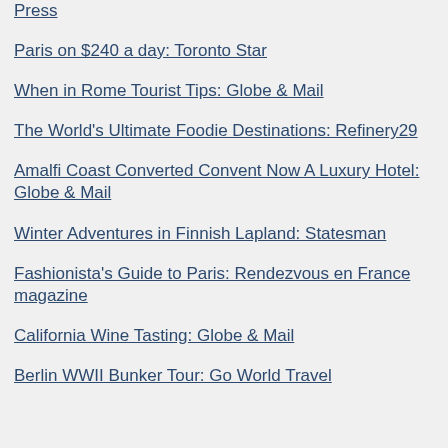Press
Paris on $240 a day: Toronto Star
When in Rome Tourist Tips: Globe & Mail
The World's Ultimate Foodie Destinations: Refinery29
Amalfi Coast Converted Convent Now A Luxury Hotel: Globe & Mail
Winter Adventures in Finnish Lapland: Statesman
Fashionista's Guide to Paris: Rendezvous en France magazine
California Wine Tasting: Globe & Mail
Berlin WWII Bunker Tour: Go World Travel